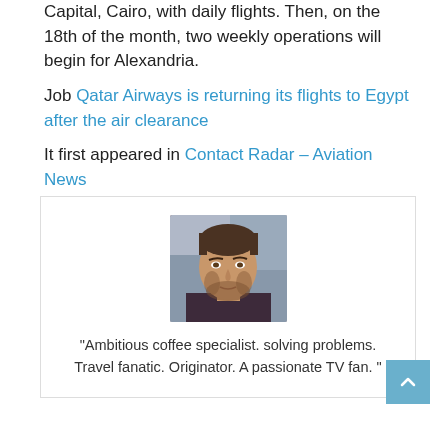Capital, Cairo, with daily flights. Then, on the 18th of the month, two weekly operations will begin for Alexandria.
Job Qatar Airways is returning its flights to Egypt after the air clearance
It first appeared in Contact Radar – Aviation News
.
[Figure (photo): Headshot of a young man with beard wearing a dark purple t-shirt, photographed outdoors.]
"Ambitious coffee specialist. solving problems. Travel fanatic. Originator. A passionate TV fan. "